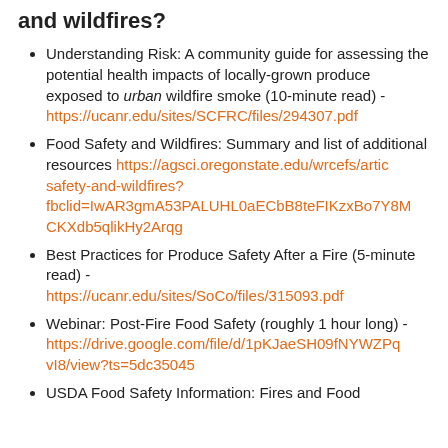and wildfires?
Understanding Risk: A community guide for assessing the potential health impacts of locally-grown produce exposed to urban wildfire smoke (10-minute read) - https://ucanr.edu/sites/SCFRC/files/294307.pdf
Food Safety and Wildfires: Summary and list of additional resources https://agsci.oregonstate.edu/wrcefs/artic safety-and-wildfires? fbclid=IwAR3gmA53PALUHL0aECbB8teFIKzxBo7Y8M CKXdb5qlikHy2Arqg
Best Practices for Produce Safety After a Fire (5-minute read) - https://ucanr.edu/sites/SoCo/files/315093.pdf
Webinar: Post-Fire Food Safety (roughly 1 hour long) - https://drive.google.com/file/d/1pKJaeSH09fNYWZPq vI8/view?ts=5dc35045
USDA Food Safety Information: Fires and Food...